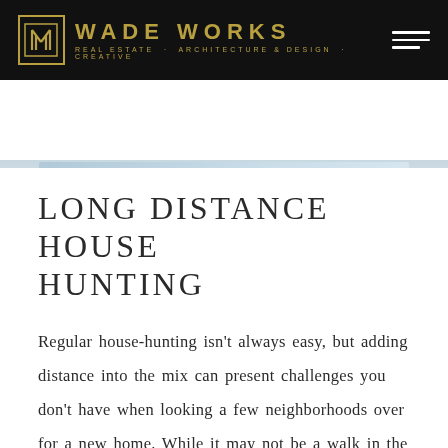WADE WORKS — REAL ESTATE · ARCHITECTURE & DESIGN · CREATIVE
[Figure (photo): Partial hero photograph showing a light blue/white blurred interior or fabric background, cropped at top of page]
LONG DISTANCE HOUSE HUNTING
Regular house-hunting isn't always easy, but adding distance into the mix can present challenges you don't have when looking a few neighborhoods over for a new home. While it may not be a walk in the park to buy a home